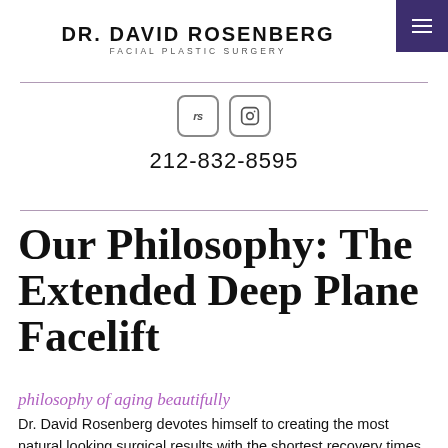DR. DAVID ROSENBERG FACIAL PLASTIC SURGERY
[Figure (logo): Two social media icons: 'rs' rounded square and Instagram camera icon]
212-832-8595
Our Philosophy: The Extended Deep Plane Facelift
philosophy of aging beautifully
Dr. David Rosenberg devotes himself to creating the most natural looking surgical results with the shortest recovery times possible. He consistently helps each patient to look as beautiful or handsome as possible without producing any obvious signs that surgery was performed.